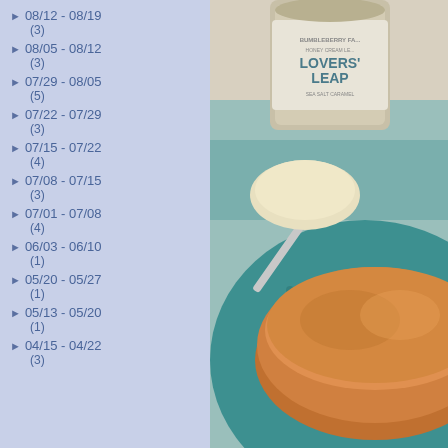► 08/12 - 08/19 (3)
► 08/05 - 08/12 (3)
► 07/29 - 08/05 (5)
► 07/22 - 07/29 (3)
► 07/15 - 07/22 (4)
► 07/08 - 07/15 (3)
► 07/01 - 07/08 (4)
► 06/03 - 06/10 (1)
► 05/20 - 05/27 (1)
► 05/13 - 05/20 (1)
► 04/15 - 04/22 (3)
[Figure (photo): Photo of pancakes on a teal decorative plate with a jar of Bumbleberry Farm Lovers' Leap honey cream and a spoon]